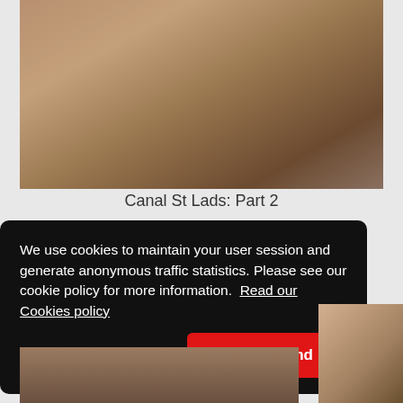[Figure (photo): A photo showing people on a dark couch/surface, indoor setting with brick wall background]
Canal St Lads: Part 2
We use cookies to maintain your user session and generate anonymous traffic statistics. Please see our cookie policy for more information.  Read our Cookies policy
I understand
[Figure (photo): Partial thumbnail of another image at the bottom of the page]